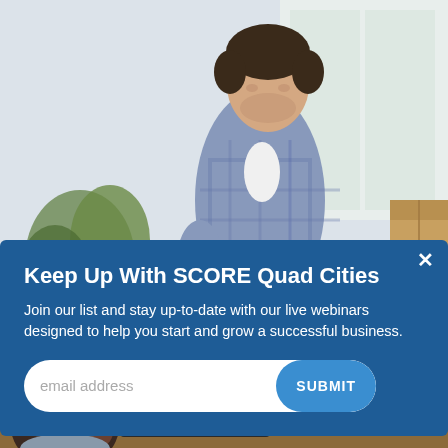[Figure (photo): Young man in plaid shirt sitting on couch, reading/writing, with plants and window in background, cardboard box visible on the right]
[Figure (infographic): Blue popup modal overlay with close X button, title 'Keep Up With SCORE Quad Cities', body text about joining list for live webinars, and an email address input with SUBMIT button. Partially visible blue sidebar text on right reading 'artup' and 'ap >']
[Figure (photo): Black man seen from side/back sitting at desk looking at dual monitors displaying map/location data with markers]